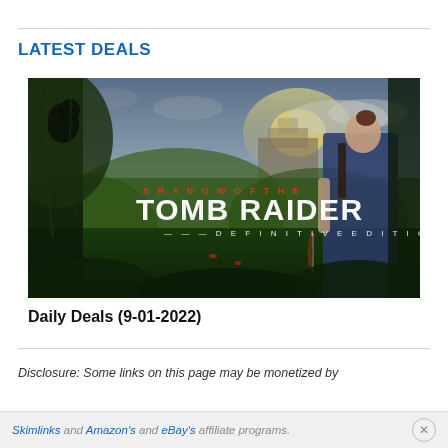LATEST DEALS
[Figure (photo): Shadow of the Tomb Raider Definitive Edition game cover art showing Lara Croft in a jungle setting with ancient ruins in the background]
Daily Deals (9-01-2022)
Disclosure: Some links on this page may be monetized by
Skimlinks and Amazon's and eBay's affiliate programs.